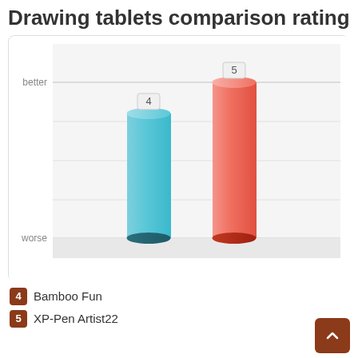Drawing tablets comparison rating
[Figure (bar-chart): Drawing tablets comparison rating]
4  Bamboo Fun
5  XP-Pen Artist22